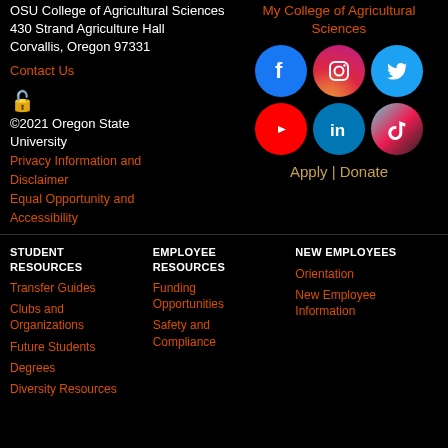OSU College of Agricultural Sciences
430 Strand Agriculture Hall
Corvallis, Oregon 97331
Contact Us
[Figure (other): Green lock/accessibility icon]
©2021 Oregon State University
Privacy Information and Disclaimer
Equal Opportunity and Accessibility
My College of Agricultural Sciences
[Figure (other): Social media icons: Facebook, Instagram, Twitter, YouTube, LinkedIn, TikTok]
Apply | Donate
STUDENT RESOURCES
Transfer Guides
Clubs and Organizations
Future Students
Degrees
Diversity Resources
EMPLOYEE RESOURCES
Funding Opportunities
Safety and Compliance
NEW EMPLOYEES
Orientation
New Employee Information